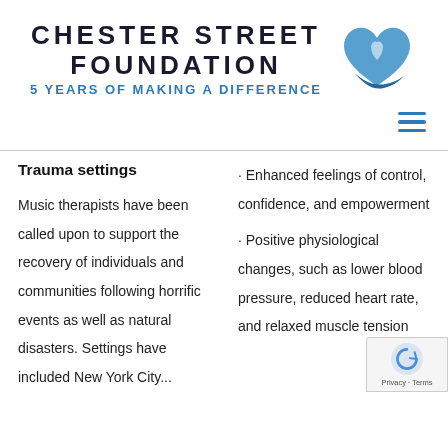[Figure (logo): Chester Street Foundation logo with heart and hand icon in blue tones, text: CHESTER STREET FOUNDATION, 5 YEARS OF MAKING A DIFFERENCE]
Trauma settings
Music therapists have been called upon to support the recovery of individuals and communities following horrific events as well as natural disasters. Settings have included New York City...
· Enhanced feelings of control, confidence, and empowerment
· Positive physiological changes, such as lower blood pressure, reduced heart rate, and relaxed muscle tension